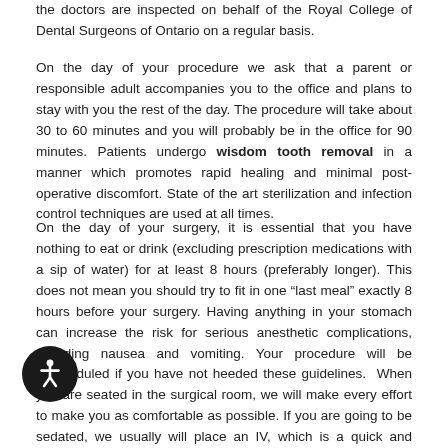the doctors are inspected on behalf of the Royal College of Dental Surgeons of Ontario on a regular basis.
On the day of your procedure we ask that a parent or responsible adult accompanies you to the office and plans to stay with you the rest of the day. The procedure will take about 30 to 60 minutes and you will probably be in the office for 90 minutes. Patients undergo wisdom tooth removal in a manner which promotes rapid healing and minimal post-operative discomfort. State of the art sterilization and infection control techniques are used at all times.
On the day of your surgery, it is essential that you have nothing to eat or drink (excluding prescription medications with a sip of water) for at least 8 hours (preferably longer). This does not mean you should try to fit in one “last meal” exactly 8 hours before your surgery. Having anything in your stomach can increase the risk for serious anesthetic complications, including nausea and vomiting. Your procedure will be rescheduled if you have not heeded these guidelines. When you are seated in the surgical room, we will make every effort to make you as comfortable as possible. If you are going to be sedated, we usually will place an IV, which is a quick and nearly painless procedure that ensures optimal delivery of your medication. Local anesthesia is given to afterwards to ensure comfort, and allow adequate time to travel home and rest. You may be sleepy for a significant portion of the day.